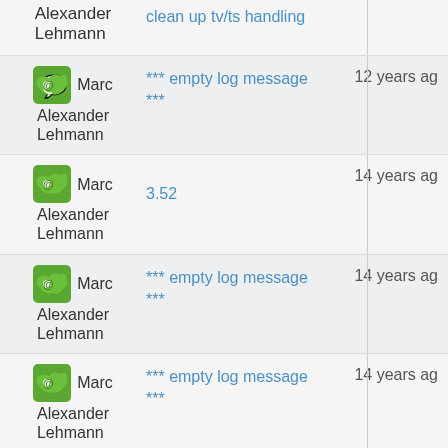Alexander Lehmann — clean up tv/ts handling
Marc Alexander Lehmann — *** empty log message *** — 12 years ago
Marc Alexander Lehmann — 3.52 — 14 years ago
Marc Alexander Lehmann — *** empty log message *** — 14 years ago
Marc Alexander Lehmann — *** empty log message *** — 14 years ago
Marc Alexander Lehmann — *** empty log message — 14 years ago